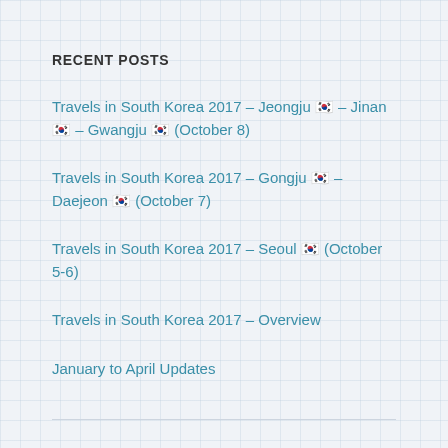RECENT POSTS
Travels in South Korea 2017 – Jeongju 전주 – Jinan 진안 – Gwangju 광주 (October 8)
Travels in South Korea 2017 – Gongju 공주 – Daejeon 대전 (October 7)
Travels in South Korea 2017 – Seoul 서울 (October 5-6)
Travels in South Korea 2017 – Overview
January to April Updates